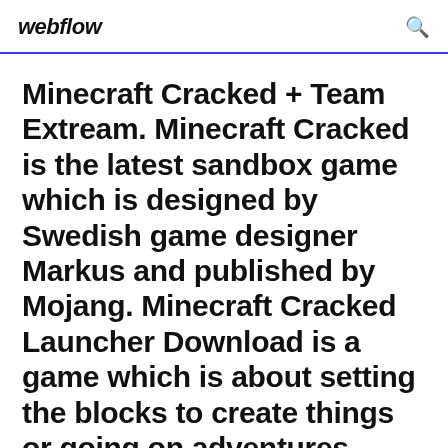webflow
Minecraft Cracked + Team Extream. Minecraft Cracked is the latest sandbox game which is designed by Swedish game designer Markus and published by Mojang. Minecraft Cracked Launcher Download is a game which is about setting the blocks to create things or going on adventures.
1 Dec 2018 If you want to download Minecraft Android and its full Pocket Edition files for Free